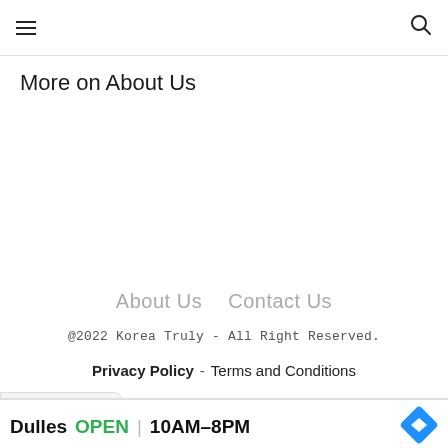Menu | Search
More on About Us
About Us  Contact Us
@2022 Korea Truly - All Right Reserved.
Privacy Policy - Terms and Conditions
[Figure (screenshot): Ad banner: Dulles OPEN | 10AM–8PM, 45575 Dulles Eastern Plaza, Suit. with Whole Market logo and navigation icon]